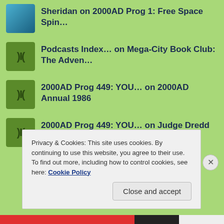Sheridan on 2000AD Prog 1: Free Space Spin…
Podcasts Index… on Mega-City Book Club: The Adven…
2000AD Prog 449: YOU… on 2000AD Annual 1986
2000AD Prog 449: YOU… on Judge Dredd Annual 1986
Privacy & Cookies: This site uses cookies. By continuing to use this website, you agree to their use.
To find out more, including how to control cookies, see here: Cookie Policy
Close and accept